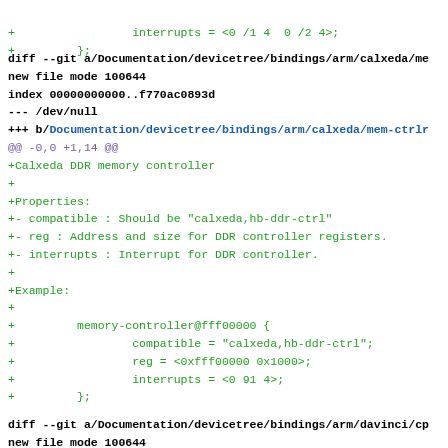+                 interrupts = <0 /1 4  0 /2 4>;
+         };
diff --git a/Documentation/devicetree/bindings/arm/calxeda/me
new file mode 100644
index 00000000000..f770ac0893d
--- /dev/null
+++ b/Documentation/devicetree/bindings/arm/calxeda/mem-ctrlr
@@ -0,0 +1,14 @@
+Calxeda DDR memory controller
+
+Properties:
+- compatible : Should be "calxeda,hb-ddr-ctrl"
+- reg : Address and size for DDR controller registers.
+- interrupts : Interrupt for DDR controller.
+
+Example:
+
+         memory-controller@fff00000 {
+                 compatible = "calxeda,hb-ddr-ctrl";
+                 reg = <0xfff00000 0x1000>;
+                 interrupts = <0 91 4>;
+         };
diff --git a/Documentation/devicetree/bindings/arm/davinci/cp
new file mode 100644